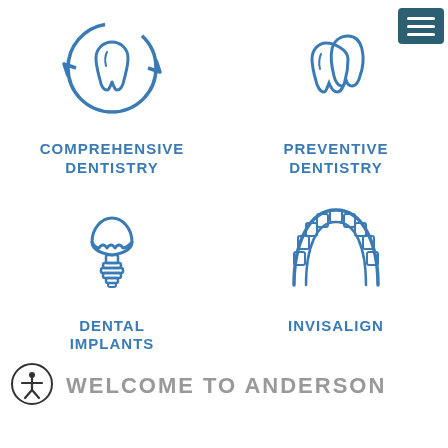[Figure (illustration): Tooth with circular arrows icon representing Comprehensive Dentistry]
[Figure (illustration): Two overlapping teeth icon representing Preventive Dentistry, with a dark teal hamburger menu button in the top right corner]
COMPREHENSIVE DENTISTRY
PREVENTIVE DENTISTRY
[Figure (illustration): Dental implant icon (crown on screw post) representing Dental Implants]
[Figure (illustration): Arch of teeth/dental arch icon representing Invisalign]
DENTAL IMPLANTS
INVISALIGN
[Figure (illustration): Accessibility icon in a circle]
WELCOME TO ANDERSON